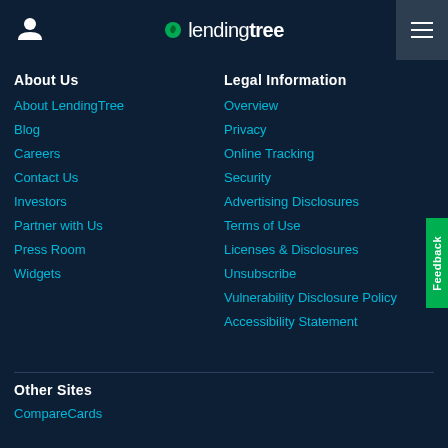lendingtree
About Us
About LendingTree
Blog
Careers
Contact Us
Investors
Partner with Us
Press Room
Widgets
Legal Information
Overview
Privacy
Online Tracking
Security
Advertising Disclosures
Terms of Use
Licenses & Disclosures
Unsubscribe
Vulnerability Disclosure Policy
Accessibility Statement
Other Sites
CompareCards